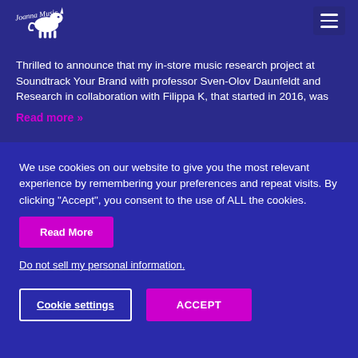Thrilled to announce that my in-store music research project at Soundtrack Your Brand with professor Sven-Olov Daunfeldt and Research in collaboration with Filippa K, that started in 2016, was
Read more »
[Figure (photo): Podcast banner featuring Dr. Bradley Vines, Chief Science Officer at Wavepaths (wavepaths.com), with magenta/pink left panel and dark background with cyan triangle graphic on right. Vertical text on far right reads PODCAST/BLOG.]
We use cookies on our website to give you the most relevant experience by remembering your preferences and repeat visits. By clicking "Accept", you consent to the use of ALL the cookies.
Read More
Do not sell my personal information.
Cookie settings
ACCEPT